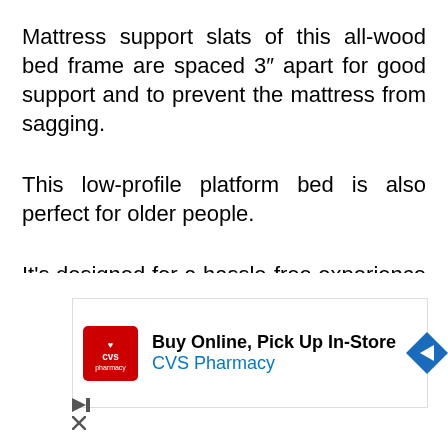Mattress support slats of this all-wood bed frame are spaced 3″ apart for good support and to prevent the mattress from sagging.
This low-profile platform bed is also perfect for older people.
It's designed for a hassle-free experience of assembling. Installation of this thing
[Figure (other): CVS Pharmacy advertisement banner: 'Buy Online, Pick Up In-Store' with CVS Pharmacy logo (red square with white heart and 'cvs pharmacy' text), directional arrow icon, and ad control icons (play and close buttons).]